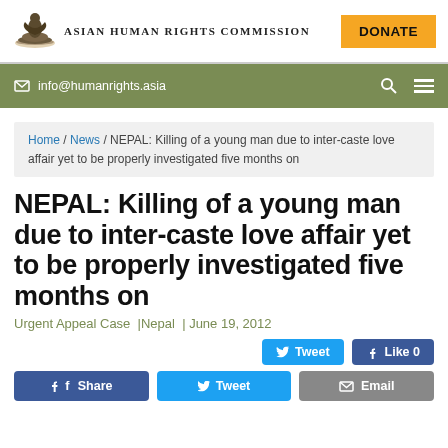Asian Human Rights Commission | DONATE
info@humanrights.asia
Home / News / NEPAL: Killing of a young man due to inter-caste love affair yet to be properly investigated five months on
NEPAL: Killing of a young man due to inter-caste love affair yet to be properly investigated five months on
Urgent Appeal Case | Nepal | June 19, 2012
[Figure (screenshot): Social sharing buttons: Tweet, Like 0, Share, Tweet, Email]